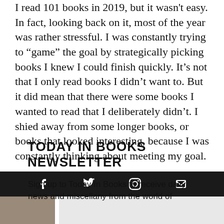I read 101 books in 2019, but it wasn't easy. In fact, looking back on it, most of the year was rather stressful. I was constantly trying to “game” the goal by strategically picking books I knew I could finish quickly. It’s not that I only read books I didn’t want to. But it did mean that there were some books I wanted to read that I deliberately didn’t. I shied away from some longer books, or books that looked interesting, because I was constantly thinking about meeting my goal.
TODAY IN BOOKS NEWSLETTER
Sign up to Today In Books to receive daily news and miscellany from the world of